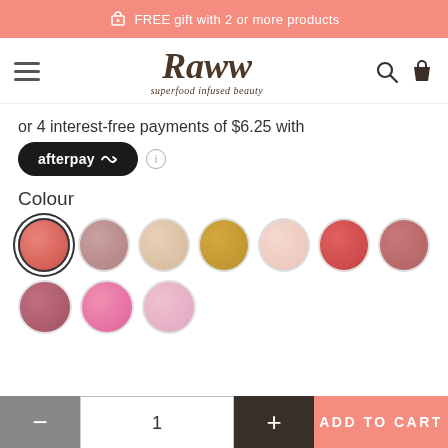FREE gift with 2 or more products
[Figure (logo): Raww superfood infused beauty logo with hamburger menu, search and cart icons]
or 4 interest-free payments of $6.25 with
[Figure (logo): Afterpay logo button]
Colour
[Figure (other): Colour swatches: coral red (selected), mauve, champagne, gold, light pink, tomato red, dusty rose, berry, hot pink, pastel pink]
1
ADD TO CART